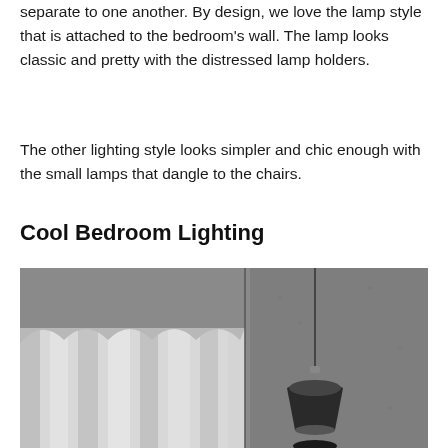separate to one another. By design, we love the lamp style that is attached to the bedroom's wall. The lamp looks classic and pretty with the distressed lamp holders.
The other lighting style looks simpler and chic enough with the small lamps that dangle to the chairs.
Cool Bedroom Lighting
[Figure (photo): Black and white photograph of a pendant lamp hanging in front of a concrete wall and white curtain in a bedroom setting.]